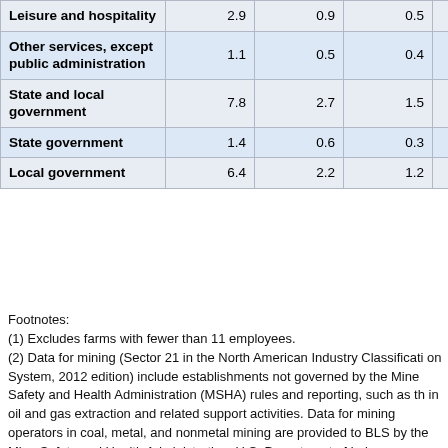| Industry | Col1 | Col2 | Col3 | Col4 |
| --- | --- | --- | --- | --- |
| Leisure and hospitality | 2.9 | 0.9 | 0.5 | 0.4 |
| Other services, except public administration | 1.1 | 0.5 | 0.4 | 0.1 |
| State and local government | 7.8 | 2.7 | 1.5 | 1.2 |
| State government | 1.4 | 0.6 | 0.3 | 0.3 |
| Local government | 6.4 | 2.2 | 1.2 | 1.0 |
Footnotes:
(1) Excludes farms with fewer than 11 employees.
(2) Data for mining (Sector 21 in the North American Industry Classification System, 2012 edition) include establishments not governed by the Mine Safety and Health Administration (MSHA) rules and reporting, such as those in oil and gas extraction and related support activities. Data for mining operators in coal, metal, and nonmetal mining are provided to BLS by the Mine Safety and Health Administration, U.S. Department of Labor. Independent mining contractors are excluded from the coal, metal, and nonmetal mining industries. These data do not reflect the changes the